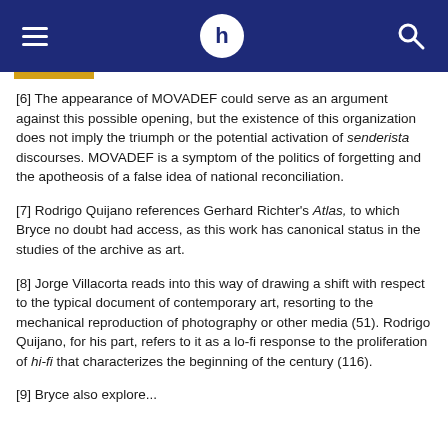Navigation header with hamburger menu, h logo, and search icon
[6] The appearance of MOVADEF could serve as an argument against this possible opening, but the existence of this organization does not imply the triumph or the potential activation of senderista discourses. MOVADEF is a symptom of the politics of forgetting and the apotheosis of a false idea of national reconciliation.
[7] Rodrigo Quijano references Gerhard Richter's Atlas, to which Bryce no doubt had access, as this work has canonical status in the studies of the archive as art.
[8] Jorge Villacorta reads into this way of drawing a shift with respect to the typical document of contemporary art, resorting to the mechanical reproduction of photography or other media (51). Rodrigo Quijano, for his part, refers to it as a lo-fi response to the proliferation of hi-fi that characterizes the beginning of the century (116).
[9] Bryce also explore...